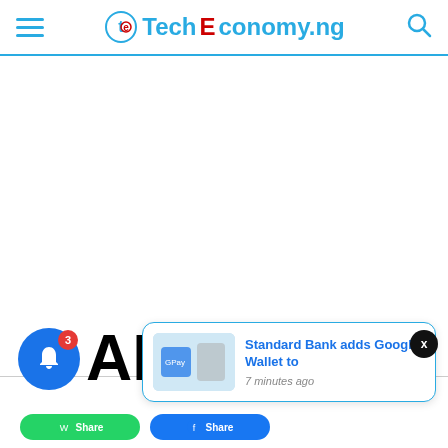TechEconomy.ng
[Figure (other): White advertisement/blank area below the header]
ARE
[Figure (other): Notification bell icon with badge showing 3, and notification card: 'Standard Bank adds Google Wallet to' - 7 minutes ago]
Standard Bank adds Google Wallet to
7 minutes ago